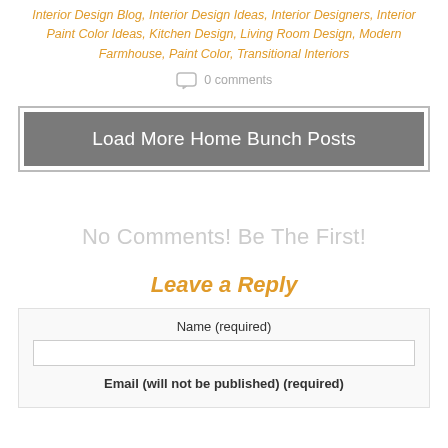Interior Design Blog, Interior Design Ideas, Interior Designers, Interior Paint Color Ideas, Kitchen Design, Living Room Design, Modern Farmhouse, Paint Color, Transitional Interiors
0 comments
Load More Home Bunch Posts
No Comments! Be The First!
Leave a Reply
Name (required)
Email (will not be published) (required)